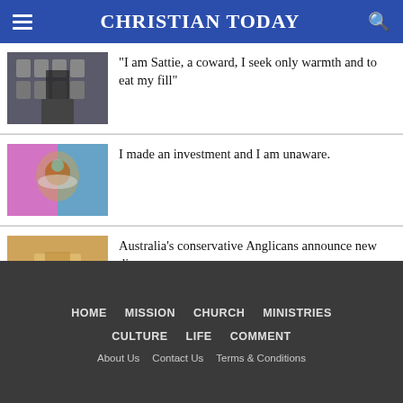CHRISTIAN TODAY
“I am Sattie, a coward, I seek only warmth and to eat my fill”
I made an investment and I am unaware.
Australia’s conservative Anglicans announce new diocese
HOME  MISSION  CHURCH  MINISTRIES  CULTURE  LIFE  COMMENT  About Us  Contact Us  Terms & Conditions